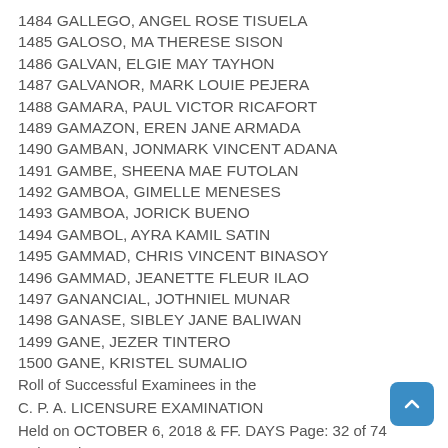1484 GALLEGO, ANGEL ROSE TISUELA
1485 GALOSO, MA THERESE SISON
1486 GALVAN, ELGIE MAY TAYHON
1487 GALVANOR, MARK LOUIE PEJERA
1488 GAMARA, PAUL VICTOR RICAFORT
1489 GAMAZON, EREN JANE ARMADA
1490 GAMBAN, JONMARK VINCENT ADANA
1491 GAMBE, SHEENA MAE FUTOLAN
1492 GAMBOA, GIMELLE MENESES
1493 GAMBOA, JORICK BUENO
1494 GAMBOL, AYRA KAMIL SATIN
1495 GAMMAD, CHRIS VINCENT BINASOY
1496 GAMMAD, JEANETTE FLEUR ILAO
1497 GANANCIAL, JOTHNIEL MUNAR
1498 GANASE, SIBLEY JANE BALIWAN
1499 GANE, JEZER TINTERO
1500 GANE, KRISTEL SUMALIO
Roll of Successful Examinees in the
C. P. A. LICENSURE EXAMINATION
Held on OCTOBER 6, 2018 & FF. DAYS Page: 32 of 74
Released on OCTOBER 23, 2018